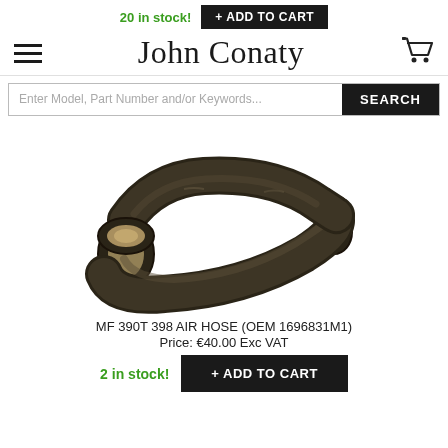20 in stock! + ADD TO CART
John Conaty
Enter Model, Part Number and/or Keywords... SEARCH
[Figure (photo): A curved black rubber air hose (elbow/S-shape) photographed against a white background. It shows both open ends of the hose. The hose is dark/black with some wear visible.]
MF 390T 398 AIR HOSE (OEM 1696831M1)
Price: €40.00 Exc VAT
2 in stock! + ADD TO CART